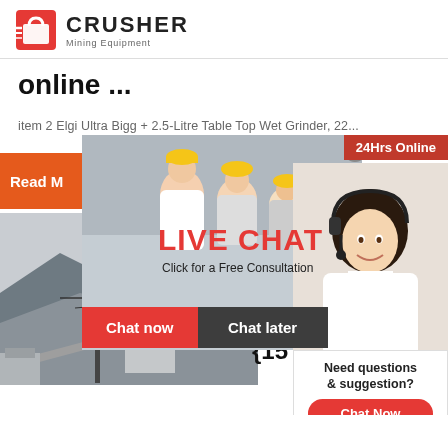[Figure (logo): Crusher Mining Equipment logo with red shopping bag icon and bold text]
online ...
item 2 Elgi Ultra Bigg + 2.5-Litre Table Top Wet Grinder, 22...
[Figure (photo): Orange 'Read More' button on left, mining facility photo below, product text showing Elgi Ultra Dura... Litre W... Grinder... {15 No...]
[Figure (screenshot): Live Chat popup overlay with workers photo, LIVE CHAT text, Click for a Free Consultation, Chat now and Chat later buttons, close X, 24Hrs Online badge, customer service rep photo]
[Figure (infographic): Right sidebar with Need questions & suggestion?, Chat Now button, dashed divider, Enquiry, dashed divider, limingjlmofen@sina.com]